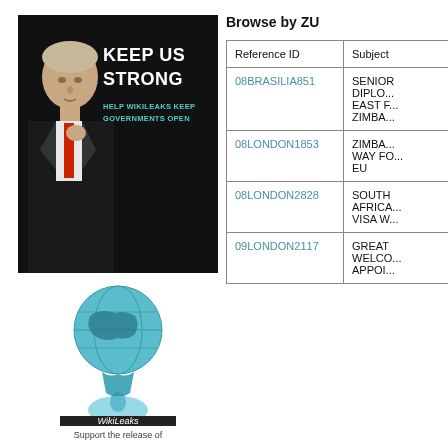[Figure (illustration): WikiLeaks 'Keep Us Strong' promotional banner with person in dark clothing on black background, with text 'KEEP US STRONG' and 'HELP WIKILEAKS KEEP GOVERNMENTS OPEN']
[Figure (logo): WikiLeaks logo: hourglass globe icon with teal/blue dripping design, with 'WikiLeaks' text underneath]
Support the release of
Browse by ZU
| Reference ID | Subject |
| --- | --- |
| 08BRASILIA851 | SENIOR DIPLO... EAST F... ZIMBA... |
| 08LONDON1853 | ZIMBA... WAY FO... EU |
| 08LONDON2828 | SOUTH AFRICA... VISA W... |
| 09LONDON2117 | GREAT WELCO... APPOI... |